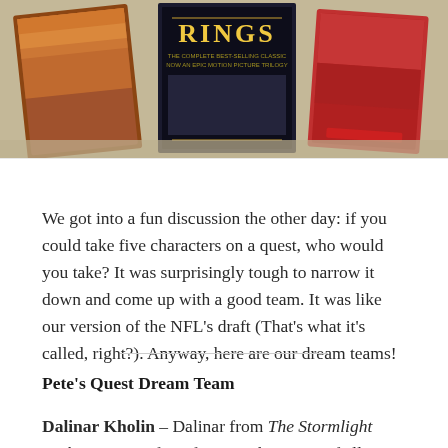[Figure (photo): Photograph of several fantasy novels (including The Lord of the Rings) standing upright on a carpet surface]
We got into a fun discussion the other day: if you could take five characters on a quest, who would you take? It was surprisingly tough to narrow it down and come up with a good team. It was like our version of the NFL's draft (That's what it's called, right?). Anyway, here are our dream teams!
Pete's Quest Dream Team
Dalinar Kholin – Dalinar from The Stormlight Archive is one of my favorite characters of all time